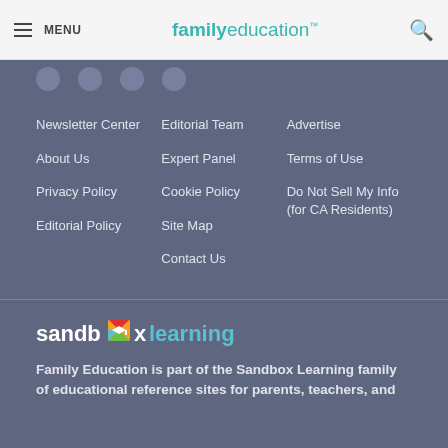MENU | familyeducation | 🔍
Newsletter Center
About Us
Privacy Policy
Editorial Policy
Editorial Team
Expert Panel
Cookie Policy
Site Map
Contact Us
Advertise
Terms of Use
Do Not Sell My Info (for CA Residents)
[Figure (logo): Sandbox Learning logo with colorful icon between 'sandb' and 'xlearning']
Family Education is part of the Sandbox Learning family of educational reference sites for parents, teachers, and